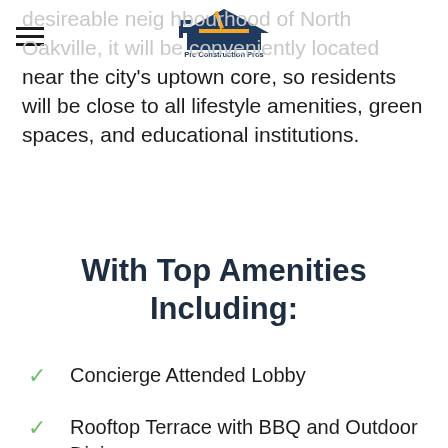[Hamburger menu] [Pre Construction Pros logo]
desireable neighbourhood of North Oakville, it will be conveniently located near the city's uptown core, so residents will be close to all lifestyle amenities, green spaces, and educational institutions.
With Top Amenities Including:
Concierge Attended Lobby
Rooftop Terrace with BBQ and Outdoor Dining